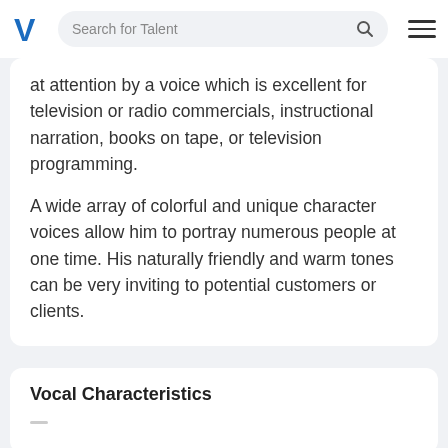Search for Talent
at attention by a voice which is excellent for television or radio commercials, instructional narration, books on tape, or television programming.
A wide array of colorful and unique character voices allow him to portray numerous people at one time. His naturally friendly and warm tones can be very inviting to potential customers or clients.
Vocal Characteristics